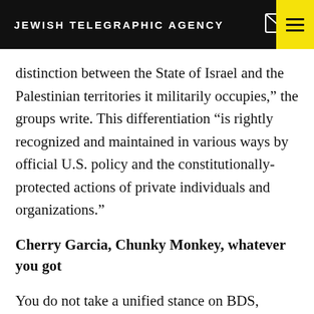JEWISH TELEGRAPHIC AGENCY
distinction between the State of Israel and the Palestinian territories it militarily occupies,” the groups write. This differentiation “is rightly recognized and maintained in various ways by official U.S. policy and the constitutionally-protected actions of private individuals and organizations.”
Cherry Garcia, Chunky Monkey, whatever you got
You do not take a unified stance on BDS, Zionism or a just solution to the conflict, but believe the occupation denies Palestinians freedom and dignity by depriving